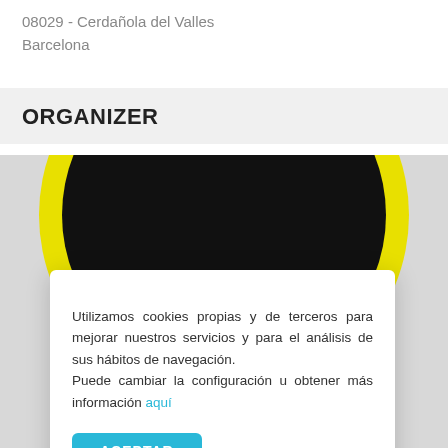08029 - Cerdañola del Valles
Barcelona
ORGANIZER
[Figure (photo): Circular logo with yellow border and black center, partially visible behind a cookie consent dialog overlay]
Utilizamos cookies propias y de terceros para mejorar nuestros servicios y para el análisis de sus hábitos de navegación.
Puede cambiar la configuración u obtener más información aquí
ACEPTAR